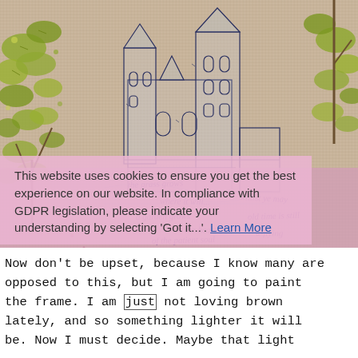[Figure (photo): Close-up photograph of an embroidery or needlework piece on linen fabric showing a cathedral/church building outlined in dark blue thread, surrounded by green leafy tree branches embroidered in yellow-green thread, with a pink/mauve lower section featuring cursive embroidered text.]
This website uses cookies to ensure you get the best experience on our website. In compliance with GDPR legislation, please indicate your understanding by selecting 'Got it...'. Learn More
Now don't be upset, because I know many are opposed to this, but I am going to paint the frame. I am just not loving brown lately, and so something lighter it will be. Now I must decide. Maybe that light